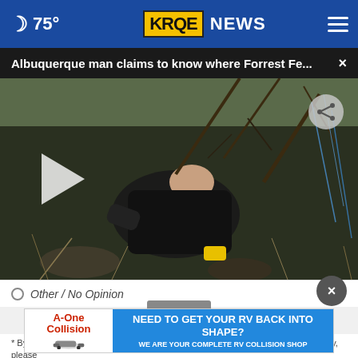75° KRQE NEWS
Albuquerque man claims to know where Forrest Fe... ×
[Figure (photo): Man crouched down, looking under bushes/branches, holding a yellow object. Video thumbnail with play button overlay.]
Other / No Opinion
[Figure (other): Close X button (dark circular button)]
[Figure (other): A-One Collision advertisement banner: NEED TO GET YOUR RV BACK INTO SHAPE? WE ARE YOUR COMPLETE RV COLLISION SHOP]
* By your survey answers. If you would like to continue with this survey, please